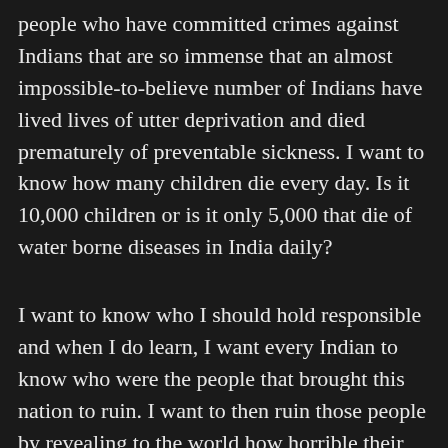people who have committed crimes against Indians that are so immense that an almost impossible-to-believe number of Indians have lived lives of utter deprivation and died prematurely of preventable sickness. I want to know how many children die every day. Is it 10,000 children or is it only 5,000 that die of water borne diseases in India daily?
I want to know who I should hold responsible and when I do learn, I want every Indian to know who were the people that brought this nation to ruin. I want to then ruin those people by revealing to the world how horrible their crimes are. When I know their names, I am going to put up their statues in every city.